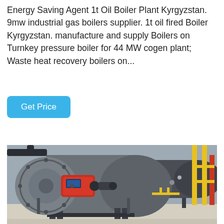Energy Saving Agent 1t Oil Boiler Plant Kyrgyzstan. 9mw industrial gas boilers supplier. 1t oil fired Boiler Kyrgyzstan. manufacture and supply Boilers on Turnkey pressure boiler for 44 MW cogen plant; Waste heat recovery boilers on...
[Figure (other): A blue rounded-rectangle button labeled 'Get Price']
[Figure (photo): Industrial boiler plant interior showing two large cylindrical horizontal fire-tube boilers on metal frames, one with a red burner unit mounted on the front, yellow pipe columns on the right side, set inside a factory building with concrete floor.]